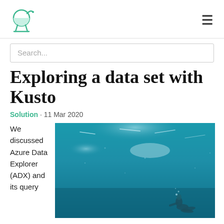[Logo] [Hamburger menu]
Search...
Exploring a data set with Kusto
Solution · 11 Mar 2020
We discussed Azure Data Explorer (ADX) and its query
[Figure (photo): Underwater photo showing a diver and blue ocean water with light reflections from above.]